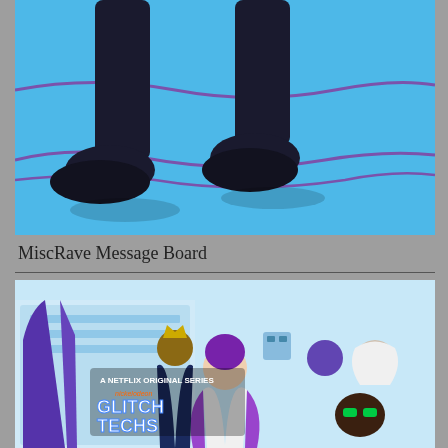[Figure (illustration): Cropped cartoon animation still showing the legs and feet of a dark-colored animated character walking on a bright blue background with purple wave lines]
MiscRave Message Board
[Figure (illustration): Promotional image for 'Glitch Techs' Netflix Original Series by Nickelodeon, showing animated characters in tech-themed superhero suits against a futuristic background]